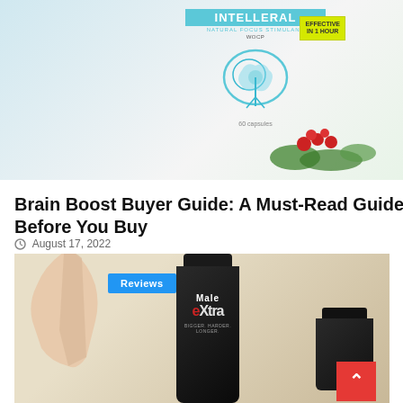[Figure (photo): Product photo of Intelleral Natural Focus Stimulant supplement box with blue brain graphic, WOCP label, and 'Effective in 1 Hour' badge, alongside red berries and green leaves]
Reviews
Brain Boost Buyer Guide: A Must-Read Guide Before You Buy
August 17, 2022
[Figure (photo): Hand holding a dark bottle of Male Extra supplement (Bigger, Harder, Longer) with additional dark bottles in the background on a beige/cream surface]